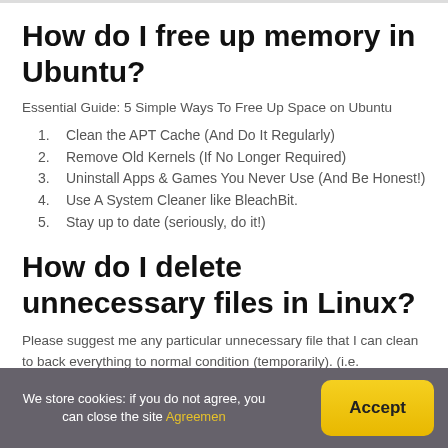How do I free up memory in Ubuntu?
Essential Guide: 5 Simple Ways To Free Up Space on Ubuntu
1. Clean the APT Cache (And Do It Regularly)
2. Remove Old Kernels (If No Longer Required)
3. Uninstall Apps & Games You Never Use (And Be Honest!)
4. Use A System Cleaner like BleachBit.
5. Stay up to date (seriously, do it!)
How do I delete unnecessary files in Linux?
Please suggest me any particular unnecessary file that I can clean to back everything to normal condition (temporarily). (i.e.
We store cookies: if you do not agree, you can close the site Agreemen | Accept